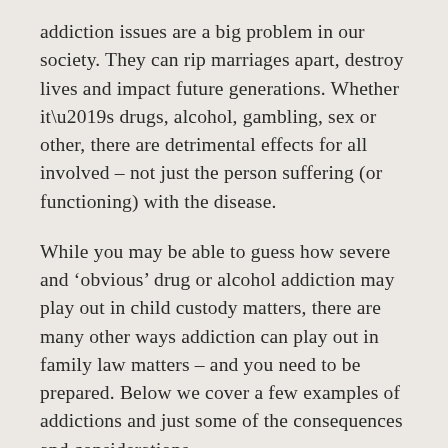addiction issues are a big problem in our society. They can rip marriages apart, destroy lives and impact future generations. Whether it’s drugs, alcohol, gambling, sex or other, there are detrimental effects for all involved – not just the person suffering (or functioning) with the disease.
While you may be able to guess how severe and ‘obvious’ drug or alcohol addiction may play out in child custody matters, there are many other ways addiction can play out in family law matters – and you need to be prepared. Below we cover a few examples of addictions and just some of the consequences and considerations.